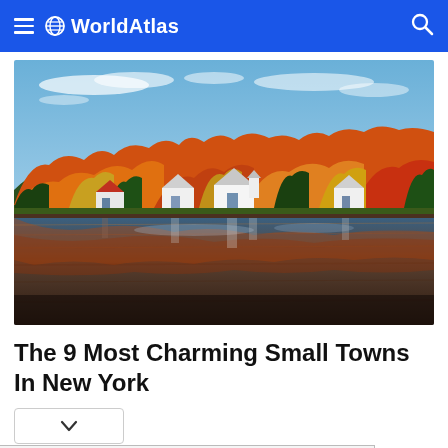WorldAtlas
[Figure (photo): Autumn foliage scene with colorful orange, red, and yellow trees along a lakeshore, white houses reflected in the calm water below a blue sky with wispy clouds.]
The 9 Most Charming Small Towns In New York